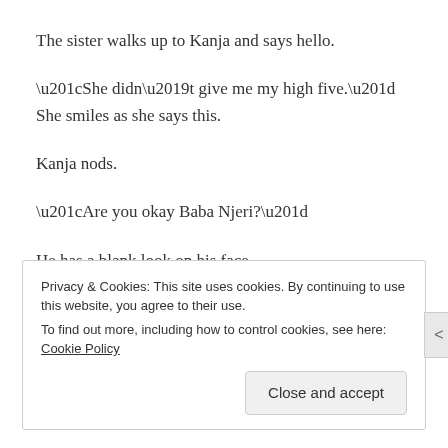The sister walks up to Kanja and says hello.
“She didn’t give me my high five.” She smiles as she says this.
Kanja nods.
“Are you okay Baba Njeri?”
He has a blank look on his face.
“I’m okay, I just had a weird morning and an even weirder conversation with Njeri”
Privacy & Cookies: This site uses cookies. By continuing to use this website, you agree to their use. To find out more, including how to control cookies, see here: Cookie Policy